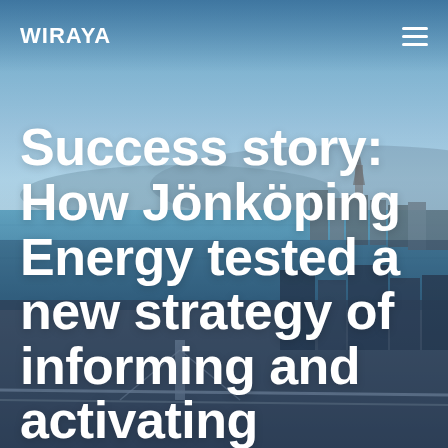[Figure (photo): Aerial/elevated photograph of Jönköping city, Sweden, showing a lake, bridge, cityscape and waterfront under a blue sky with distant hills.]
WIRAYA
Success story: How Jönköping Energy tested a new strategy of informing and activating